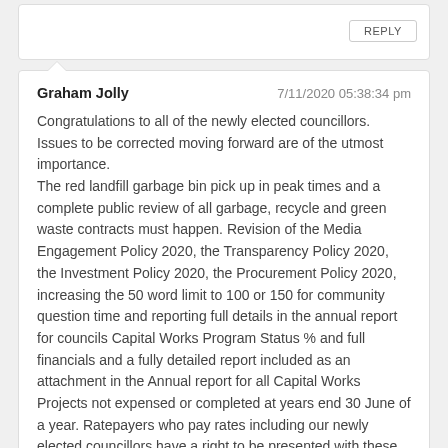REPLY
Graham Jolly
7/11/2020 05:38:34 pm
Congratulations to all of the newly elected councillors. Issues to be corrected moving forward are of the utmost importance.
The red landfill garbage bin pick up in peak times and a complete public review of all garbage, recycle and green waste contracts must happen. Revision of the Media Engagement Policy 2020, the Transparency Policy 2020, the Investment Policy 2020, the Procurement Policy 2020, increasing the 50 word limit to 100 or 150 for community question time and reporting full details in the annual report for councils Capital Works Program Status % and full financials and a fully detailed report included as an attachment in the Annual report for all Capital Works Projects not expensed or completed at years end 30 June of a year. Ratepayers who pay rates including our newly elected councillors have a right to be presented with these missing reports and corrections of policy or contact matters. Changes are over due. The Audit and Risk Committee and its Charter must step up and target necessary important changes. I look forward for our councillors, the board of